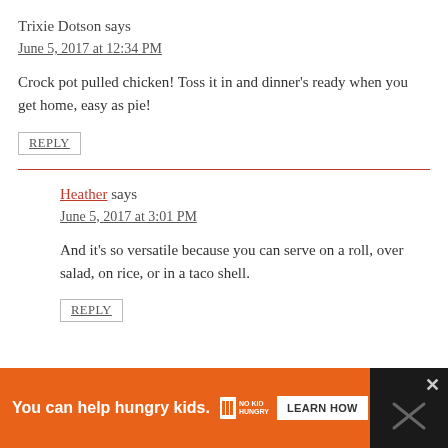Trixie Dotson says
June 5, 2017 at 12:34 PM
Crock pot pulled chicken! Toss it in and dinner's ready when you get home, easy as pie!
REPLY
Heather says
June 5, 2017 at 3:01 PM
And it's so versatile because you can serve on a roll, over salad, on rice, or in a taco shell.
REPLY
[Figure (infographic): Advertisement banner: orange background with 'You can help hungry kids.' text, No Kid Hungry logo, and LEARN HOW button on dark background]